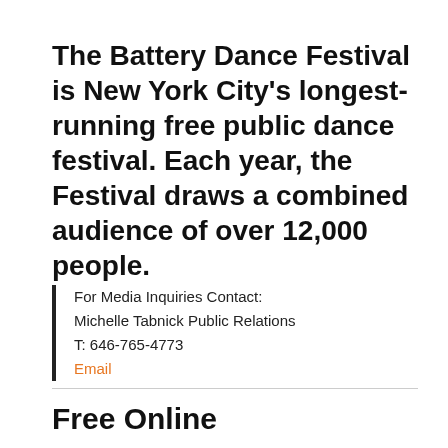The Battery Dance Festival is New York City's longest-running free public dance festival. Each year, the Festival draws a combined audience of over 12,000 people.
For Media Inquiries Contact: Michelle Tabnick Public Relations T: 646-765-4773 Email
Free Online